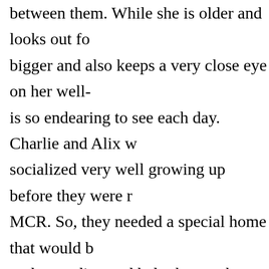between them. While she is older and looks out fo bigger and also keeps a very close eye on her well- is so endearing to see each day. Charlie and Alix w socialized very well growing up before they were r MCR. So, they needed a special home that would b understanding and help them to better relax arou After much discussion with the MCR staff and thei decided we would be a good fit and our clowder w their settling into a new home together.
At the time we had 7 other kitties in our home and learning of Charlie and Alix's situation, we came to conclusion that having other kitties around would situation for them...and we were not wrong. Char have blended into our household seamlessly and g